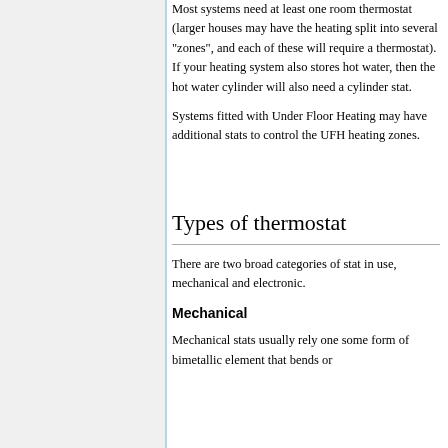Most systems need at least one room thermostat (larger houses may have the heating split into several "zones", and each of these will require a thermostat). If your heating system also stores hot water, then the hot water cylinder will also need a cylinder stat.
Systems fitted with Under Floor Heating may have additional stats to control the UFH heating zones.
Types of thermostat
There are two broad categories of stat in use, mechanical and electronic.
Mechanical
Mechanical stats usually rely one some form of bimetallic element that bends or